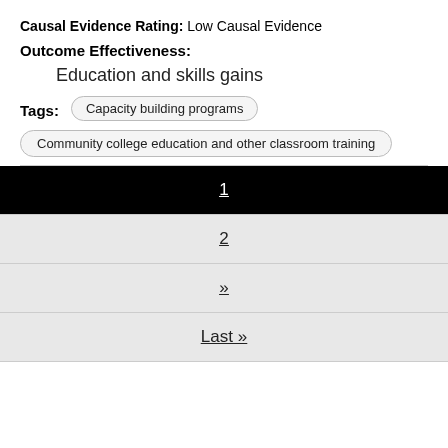Causal Evidence Rating: Low Causal Evidence
Outcome Effectiveness:
Education and skills gains
Tags: Capacity building programs  Community college education and other classroom training
1  2  »  Last »